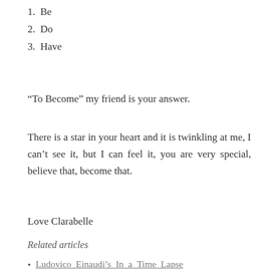1.  Be
2.  Do
3.  Have
“To Become” my friend is your answer.
There is a star in your heart and it is twinkling at me, I can’t see it, but I can feel it, you are very special, believe that, become that.
Love Clarabelle
Related articles
Ludovico Einaudi’s In a Time Lapse (bordeltotal.wordpress.com)
Ludovico Einaudi (heartcoreinspiration.wordpress.com)